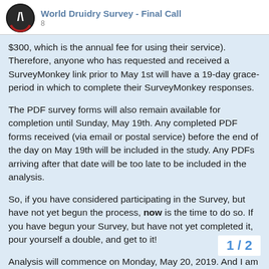World Druidry Survey - Final Call
$300, which is the annual fee for using their service). Therefore, anyone who has requested and received a SurveyMonkey link prior to May 1st will have a 19-day grace-period in which to complete their SurveyMonkey responses.
The PDF survey forms will also remain available for completion until Sunday, May 19th. Any completed PDF forms received (via email or postal service) before the end of the day on May 19th will be included in the study. Any PDFs arriving after that date will be too late to be included in the analysis.
So, if you have considered participating in the Survey, but have not yet begun the process, now is the time to do so. If you have begun your Survey, but have not yet completed it, pour yourself a double, and get to it!
Analysis will commence on Monday, May 20, 2019. And I am really looking forward to it!
The response of the world community of D
1 / 2